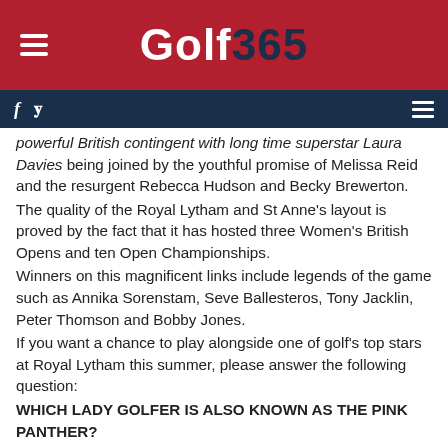Golf 365
powerful British contingent with long time superstar Laura Davies being joined by the youthful promise of Melissa Reid and the resurgent Rebecca Hudson and Becky Brewerton. The quality of the Royal Lytham and St Anne's layout is proved by the fact that it has hosted three Women's British Opens and ten Open Championships. Winners on this magnificent links include legends of the game such as Annika Sorenstam, Seve Ballesteros, Tony Jacklin, Peter Thomson and Bobby Jones. If you want a chance to play alongside one of golf's top stars at Royal Lytham this summer, please answer the following question:
WHICH LADY GOLFER IS ALSO KNOWN AS THE PINK PANTHER?
Send your answers plus contact details to – golf365ricohopen@googlemail.com
(Entries must be received by midnight on Tuesday 21st July, Click here for full terms and conditions.